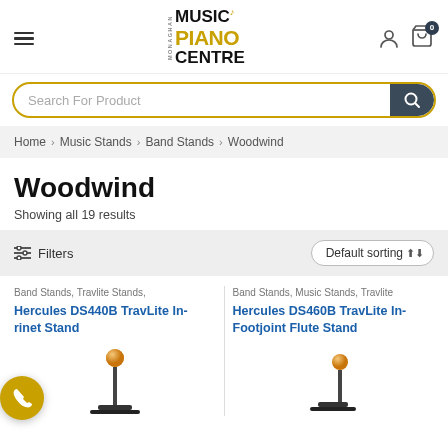[Figure (logo): Monaghan Music Piano Centre logo with music note icon]
Search For Product
Home > Music Stands > Band Stands > Woodwind
Woodwind
Showing all 19 results
Filters   Default sorting
Band Stands, Travlite Stands,
Hercules DS440B TravLite In-rinet Stand
Band Stands, Music Stands, Travlite
Hercules DS460B TravLite In-Footjoint Flute Stand
[Figure (illustration): Stand product illustration left]
[Figure (illustration): Stand product illustration right]